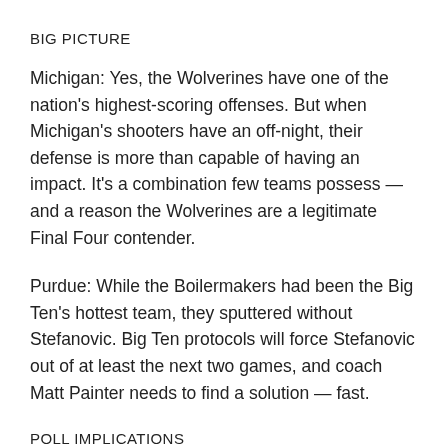BIG PICTURE
Michigan: Yes, the Wolverines have one of the nation's highest-scoring offenses. But when Michigan's shooters have an off-night, their defense is more than capable of having an impact. It's a combination few teams possess — and a reason the Wolverines are a legitimate Final Four contender.
Purdue: While the Boilermakers had been the Big Ten's hottest team, they sputtered without Stefanovic. Big Ten protocols will force Stefanovic out of at least the next two games, and coach Matt Painter needs to find a solution — fast.
POLL IMPLICATIONS